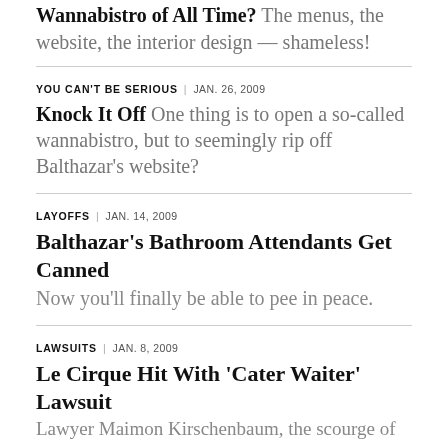Wannabistro of All Time? The menus, the website, the interior design — shameless!
YOU CAN'T BE SERIOUS | JAN. 26, 2009
Knock It Off One thing is to open a so-called wannabistro, but to seemingly rip off Balthazar's website?
LAYOFFS | JAN. 14, 2009
Balthazar's Bathroom Attendants Get Canned Now you'll finally be able to pee in peace.
LAWSUITS | JAN. 8, 2009
Le Cirque Hit With 'Cater Waiter' Lawsuit Lawyer Maimon Kirschenbaum, the scourge of